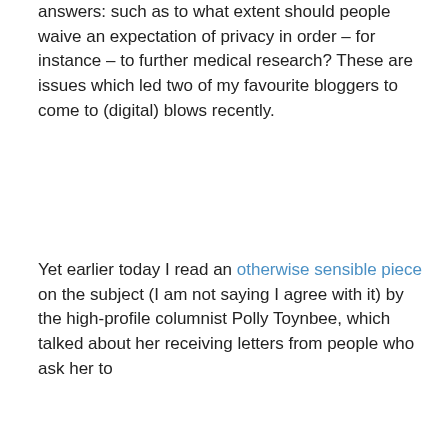answers: such as to what extent should people waive an expectation of privacy in order – for instance – to further medical research? These are issues which led two of my favourite bloggers to come to (digital) blows recently.
Yet earlier today I read an otherwise sensible piece on the subject (I am not saying I agree with it) by the high-profile columnist Polly Toynbee, which talked about her receiving letters from people who ask her to
investigate the dark forces planting cameras and
This is an off-the-peg wordpress blog. It places cookies on your device. There's an interesting debate to be had as to whether they're strictly necessary for the provision of an information society service requested by the subscriber or user, given that I can't turn them off. Drop me a line if you want that debate - I'll probably agree with you. Here's the rub
to draw an analogy by insinuation with